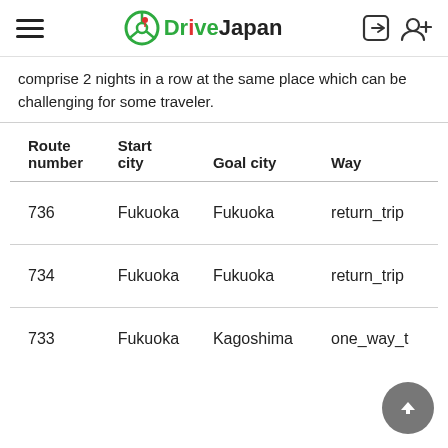DriveJapan
comprise 2 nights in a row at the same place which can be challenging for some traveler.
| Route number | Start city | Goal city | Way |
| --- | --- | --- | --- |
| 736 | Fukuoka | Fukuoka | return_trip |
| 734 | Fukuoka | Fukuoka | return_trip |
| 733 | Fukuoka | Kagoshima | one_way_t |